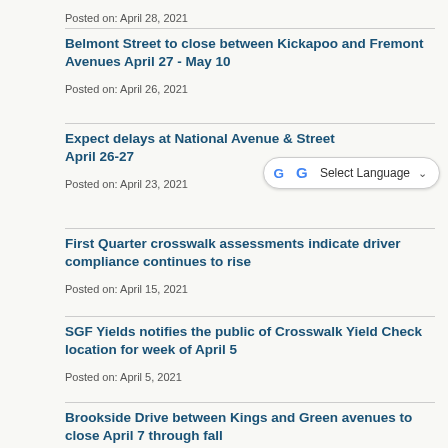Posted on: April 28, 2021
Belmont Street to close between Kickapoo and Fremont Avenues April 27 - May 10
Posted on: April 26, 2021
Expect delays at National Avenue & Street April 26-27
Posted on: April 23, 2021
First Quarter crosswalk assessments indicate driver compliance continues to rise
Posted on: April 15, 2021
SGF Yields notifies the public of Crosswalk Yield Check location for week of April 5
Posted on: April 5, 2021
Brookside Drive between Kings and Green avenues to close April 7 through fall